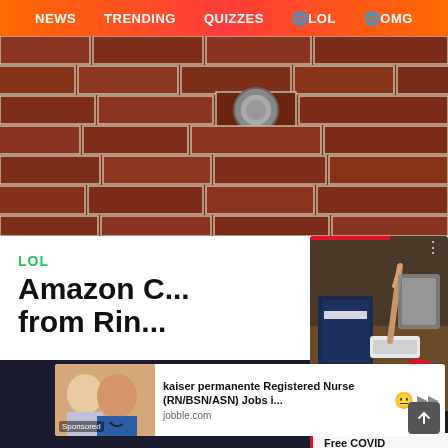NEWS   TRENDING   QUIZZES   🌐LOL   🌐OMG
[Figure (photo): Close-up photo of a red brick wall with a circular doorbell mounted on it]
LOL
Amazon C... from Ring...
[Figure (photo): Overlay card showing hands holding a COVID rapid test with packages on a table; includes red bar, three-dots menu, arrow button, and text 'Free COVID TestDistributionEnds Friday']
[Figure (photo): Sponsored ad showing a woman in medical scrubs with text: kaiser permanente Registered Nurse (RN/BSN/ASN) Jobs i... from jobble.com]